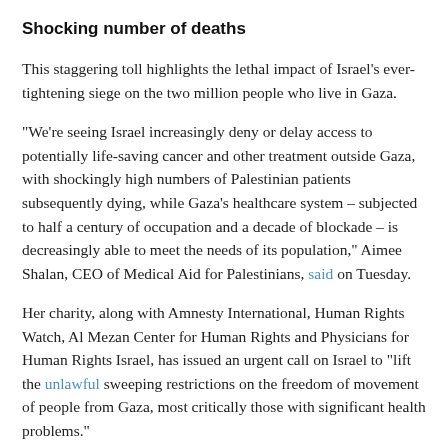Shocking number of deaths
This staggering toll highlights the lethal impact of Israel's ever-tightening siege on the two million people who live in Gaza.
“We’re seeing Israel increasingly deny or delay access to potentially life-saving cancer and other treatment outside Gaza, with shockingly high numbers of Palestinian patients subsequently dying, while Gaza’s healthcare system – subjected to half a century of occupation and a decade of blockade – is decreasingly able to meet the needs of its population,” Aimee Shalan, CEO of Medical Aid for Palestinians, said on Tuesday.
Her charity, along with Amnesty International, Human Rights Watch, Al Mezan Center for Human Rights and Physicians for Human Rights Israel, has issued an urgent call on Israel to “lift the unlawful sweeping restrictions on the freedom of movement of people from Gaza, most critically those with significant health problems.”
In 2017 Israeli occupation authorities approved just 54 percent of